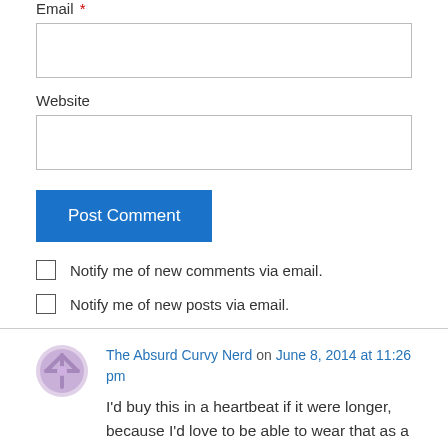Email *
Website
Post Comment
Notify me of new comments via email.
Notify me of new posts via email.
The Absurd Curvy Nerd on June 8, 2014 at 11:26 pm
I'd buy this in a heartbeat if it were longer, because I'd love to be able to wear that as a